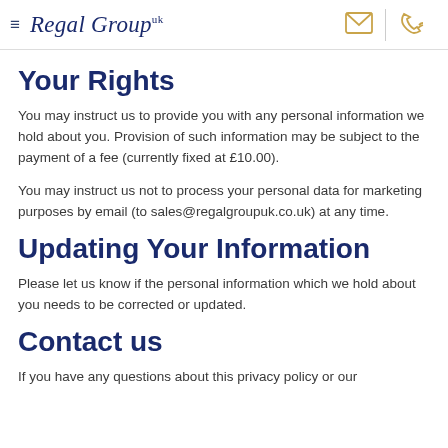Regal Group uk
Your Rights
You may instruct us to provide you with any personal information we hold about you. Provision of such information may be subject to the payment of a fee (currently fixed at £10.00).
You may instruct us not to process your personal data for marketing purposes by email (to sales@regalgroupuk.co.uk) at any time.
Updating Your Information
Please let us know if the personal information which we hold about you needs to be corrected or updated.
Contact us
If you have any questions about this privacy policy or our